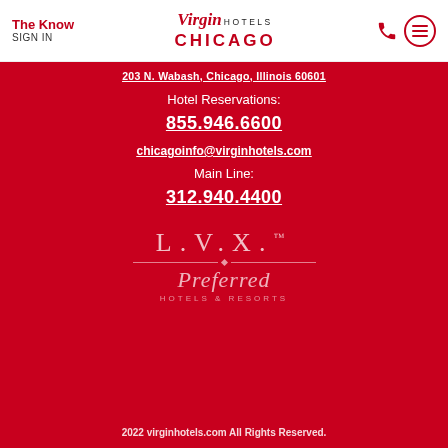The Know SIGN IN | Virgin Hotels Chicago
203 N. Wabash, Chicago, Illinois 60601
Hotel Reservations:
855.946.6600
chicagoinfo@virginhotels.com
Main Line:
312.940.4400
[Figure (logo): L.V.X. Preferred Hotels & Resorts logo in white/translucent on red background]
2022 virginhotels.com All Rights Reserved.